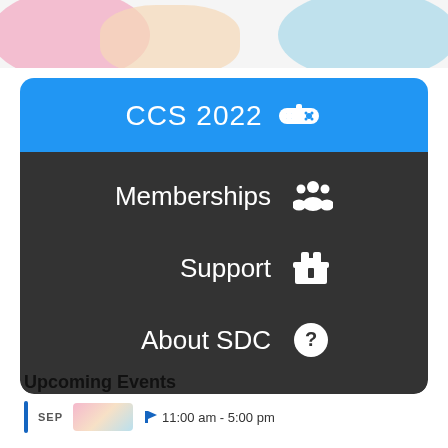[Figure (illustration): Decorative banner with pink, peach, and light blue soft color blobs on a light background]
CCS 2022
Memberships
Support
About SDC
Upcoming Events
SEP  11:00 am - 5:00 pm